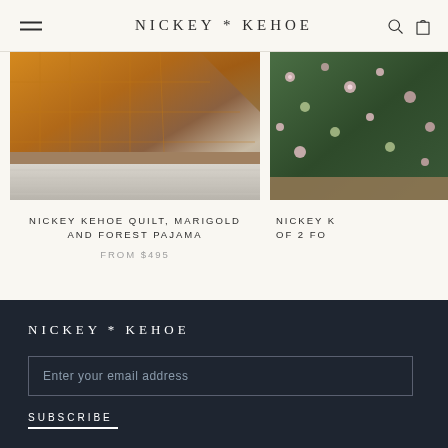NICKEY * KEHOE
[Figure (photo): Photo of a warm amber/marigold quilt draped over a wooden bench on whitewashed floor planks]
NICKEY KEHOE QUILT, MARIGOLD AND FOREST PAJAMA
FROM $495
[Figure (photo): Photo of a floral quilted item in dark green with pink floral pattern on a wooden surface]
NICKEY K OF 2 FO
NICKEY * KEHOE
Enter your email address
SUBSCRIBE